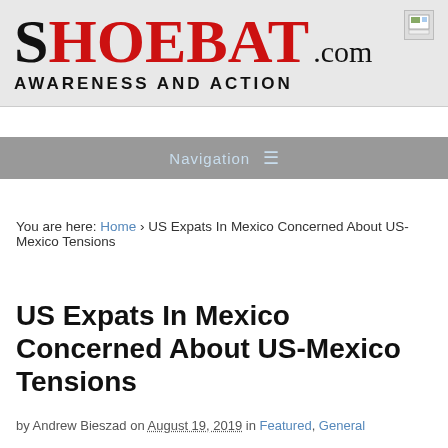SHOEBAT.com AWARENESS AND ACTION
Navigation
You are here: Home › US Expats In Mexico Concerned About US-Mexico Tensions
US Expats In Mexico Concerned About US-Mexico Tensions
by Andrew Bieszad on August 19, 2019 in Featured, General